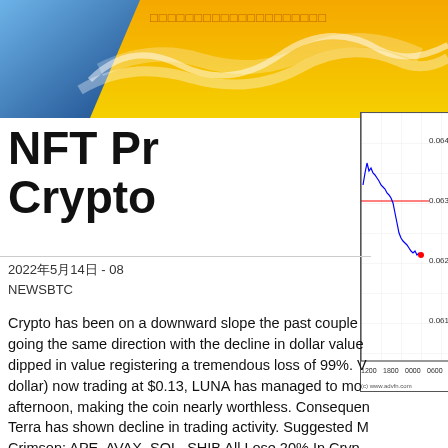[Figure (other): Website header banner with blue and gold/orange gradient, decorative wave swirls, and Japanese/CJK text on the right]
NFT Pr… Crypto…
[Figure (line-chart): Line chart showing price decline from ~0.064 to ~0.062, with a red horizontal reference line at ~0.063. X-axis: 1200, 1800, 0000, 0600. Y-axis: 0.061 to 0.064. Source: (c) www.advfn.com]
2022年5月14日 - 08… NEWSBTC
Crypto has been on a downward slope the past couple, going the same direction with the decline in dollar value, dipped in value registering a tremendous loss of 99%. W dollar) now trading at $0.13, LUNA has managed to mo afternoon, making the coin nearly worthless. Consequen Terra has shown decline in trading activity. Suggested B Crimson: APE, AVAX, SOL, SHIB All Lose 20% In Cry Shine On the other hand, Ethereum (ETH) is currently t suffered a decline compared to its trading value last we